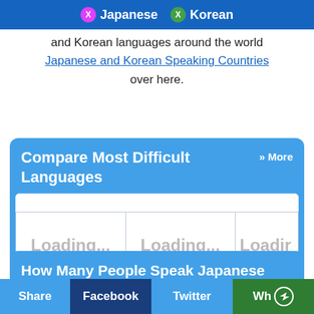X Japanese  X Korean
and Korean languages around the world
Japanese and Korean Speaking Countries
over here.
Compare Most Difficult Languages  » More
[Figure (screenshot): Three loading placeholder boxes labeled 'Loading...' with caption 'Japanese vs Hindi' and partially visible 'Jap...']
How Many People Speak Japanese and Korean Dialects
Dialects are the varieties of a language that is
Share  Facebook  Twitter  Wh<